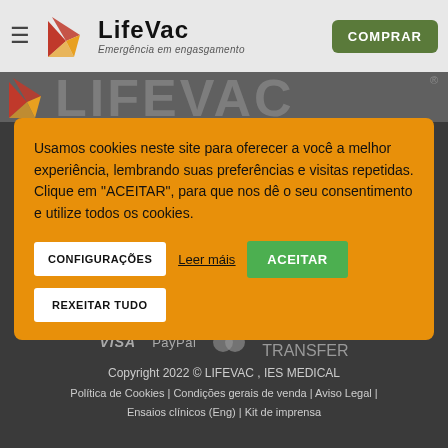LifeVac — Emergência em engasgamento | COMPRAR
[Figure (screenshot): LifeVac website hero section with logo and watermark text in grey background]
Usamos cookies neste site para oferecer a você a melhor experiência, lembrando suas preferências e visitas repetidas. Clique em "ACEITAR", para que nos dê o seu consentimento e utilize todos os cookies.
CONFIGURAÇÕES | Leer máis | ACEITAR
REXEITAR TUDO
VISA  PayPal  Mastercard  BANK TRANSFER
Copyright 2022 © LIFEVAC , IES MEDICAL
Política de Cookies | Condições gerais de venda | Aviso Legal | Ensaios clínicos (Eng) | Kit de imprensa